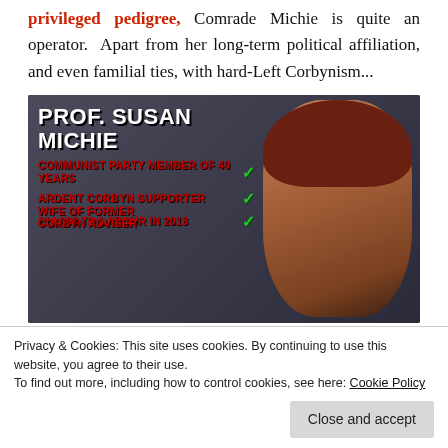privileged pedigree, Comrade Michie is quite an operator. Apart from her long-term political affiliation, and even familial ties, with hard-Left Corbynism...
[Figure (infographic): Promotional/political infographic about Prof. Susan Michie listing: Communist Party Member of 40 Years (checkmark), Ardent Corbyn Supporter (checkmark), £14,000 to Labour in 2018 (checkmark), Wife of Former Corbyn Adviser. Shows a photo of a woman with red hair and glasses on a dark background.]
Privacy & Cookies: This site uses cookies. By continuing to use this website, you agree to their use.
To find out more, including how to control cookies, see here: Cookie Policy
Close and accept